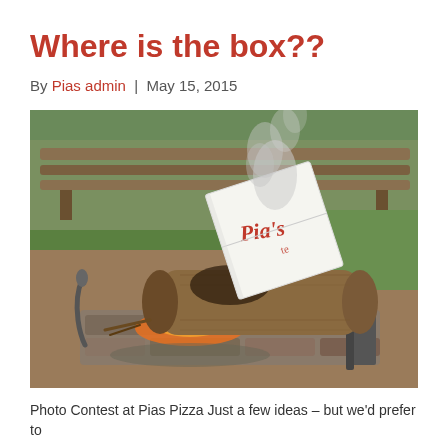Where is the box??
By Pias admin  |  May 15, 2015
[Figure (photo): A Pia's Pizza box burning in an outdoor stone fire pit alongside a large log, with smoke rising against a background of green grass and a wooden picnic bench.]
Photo Contest at Pias Pizza Just a few ideas – but we'd prefer to